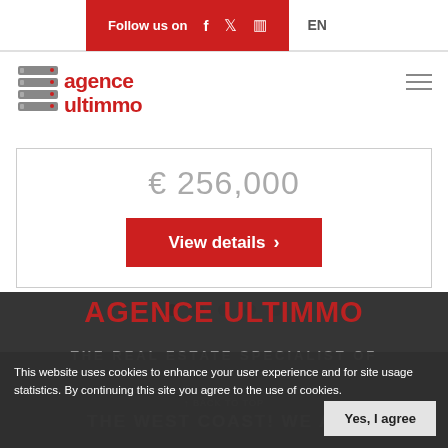Follow us on  EN
[Figure (logo): Agence Ultimmo logo with stacked servers icon and red text]
€ 256,000
View details >
AGENCE ULTIMMO
THE REAL ESTATE SPECIALIST OF
THE WEST COAST! WE ARE
This website uses cookies to enhance your user experience and for site usage statistics. By continuing this site you agree to the use of cookies.
Yes, I agree